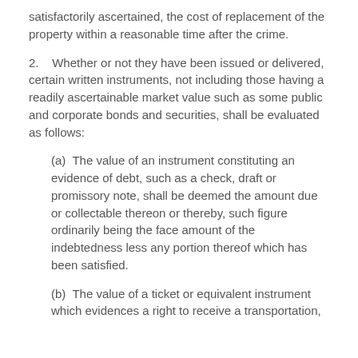satisfactorily ascertained, the cost of replacement of the property within a reasonable time after the crime.
2.    Whether or not they have been issued or delivered, certain written instruments, not including those having a readily ascertainable market value such as some public and corporate bonds and securities, shall be evaluated as follows:
(a)  The value of an instrument constituting an evidence of debt, such as a check, draft or promissory note, shall be deemed the amount due or collectable thereon or thereby, such figure ordinarily being the face amount of the indebtedness less any portion thereof which has been satisfied.
(b)  The value of a ticket or equivalent instrument which evidences a right to receive a transportation,